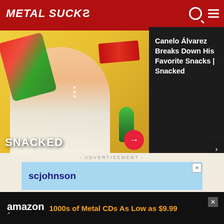METALSUCKS
[Figure (screenshot): Video thumbnail showing Canelo Álvarez with snack foods (Sabritas, Pulparindo), with 'SNACKED' text overlay and a red arrow button. Dark panel on right showing title text.]
Canelo Álvarez Breaks Down His Favorite Snacks | Snacked
...used to showcase this phenomenon, we put together a list of awesome songs that are cursed, be it by label pressure, poor creative choices, or the technological limits of the time, with bad videos.
- ADVERTISEMENT -
[Figure (screenshot): SC Johnson advertisement banner in light blue]
amazon 1000s of Metal CDs As Low as $9.99